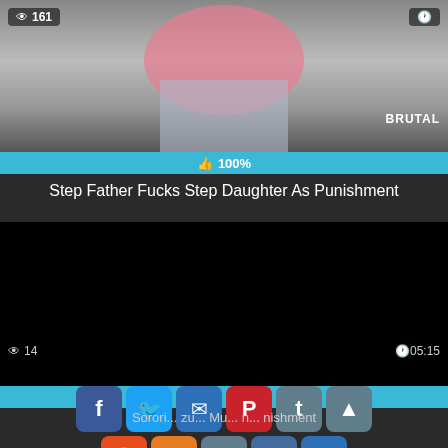[Figure (screenshot): Video thumbnail showing partial figure in pink top and jeans, with view count 161 overlay top-left, clock icon top-right, BRUTAL brand label bottom-right]
161
BRUTAL
100%
Step Father Fucks Step Daughter As Punishment
[Figure (screenshot): Black video thumbnail with view count 14 bottom-left and duration 05:15 bottom-right]
14
05:15
[Figure (infographic): Social sharing buttons row 1: Facebook, Twitter, Email, Pinterest, Tumblr, scroll-up arrow. Row 2: Reddit, Blogger, WordPress, VK, More]
Sorority... u... Mu... n... nishment